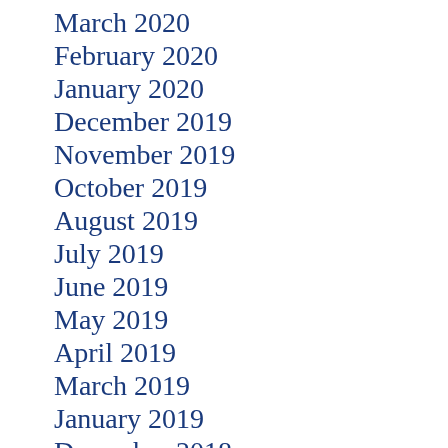March 2020
February 2020
January 2020
December 2019
November 2019
October 2019
August 2019
July 2019
June 2019
May 2019
April 2019
March 2019
January 2019
December 2018
November 2018
October 2018
September 2018
August 2018